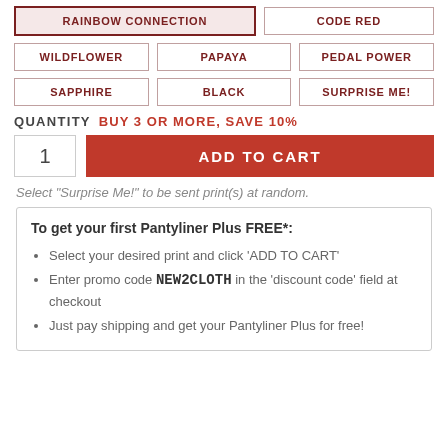RAINBOW CONNECTION
CODE RED
WILDFLOWER
PAPAYA
PEDAL POWER
SAPPHIRE
BLACK
SURPRISE ME!
QUANTITY  BUY 3 OR MORE, SAVE 10%
1
ADD TO CART
Select "Surprise Me!" to be sent print(s) at random.
To get your first Pantyliner Plus FREE*:
Select your desired print and click 'ADD TO CART'
Enter promo code NEW2CLOTH in the 'discount code' field at checkout
Just pay shipping and get your Pantyliner Plus for free!